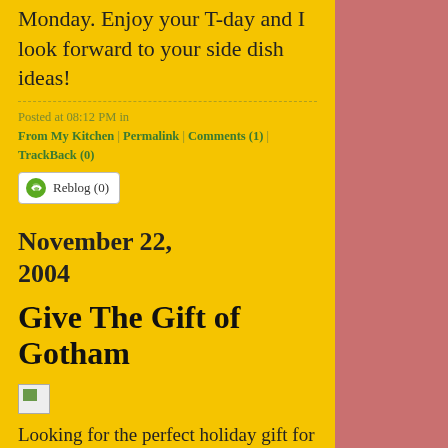Monday. Enjoy your T-day and I look forward to your side dish ideas!
Posted at 08:12 PM in From My Kitchen | Permalink | Comments (1) | TrackBack (0)
Reblog (0)
November 22, 2004
Give The Gift of Gotham
[Figure (illustration): Small broken image placeholder icon]
Looking for the perfect holiday gift for the favorite displaced New Yorker on your list? Or perhaps a special something for that New Yor...